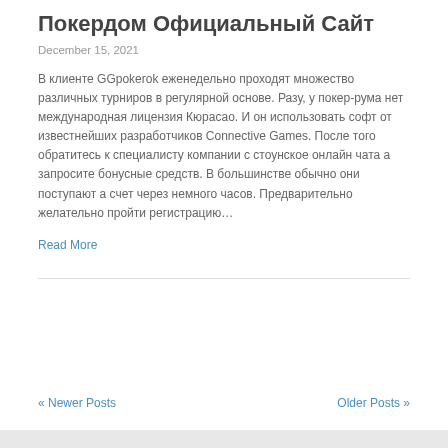Покердом Официальный Сайт
December 15, 2021
В клиенте GGpokerok еженедельно проходят множество различных турниров в регулярной основе. Разу, у покер-рума нет международная лицензия Кюрасао. И он использовать софт от известнейших разработчиков Connective Games. После того обратитесь к специалисту компании с стоунское онлайн чата а запросите бонусные средств. В большинстве обычно они поступают а счет через немного часов. Предварительно желательно пройти регистрацию…
Read More
« Newer Posts
Older Posts »